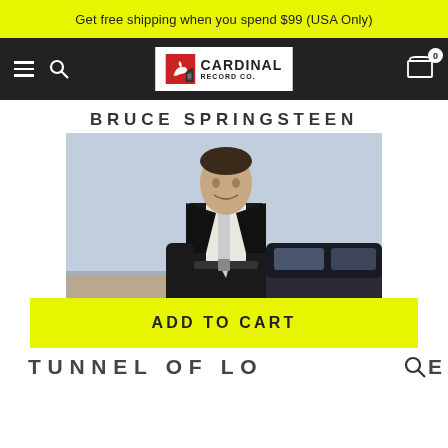Get free shipping when you spend $99 (USA Only)
[Figure (logo): Cardinal Record Co. logo with navigation bar including hamburger menu, search icon, and cart with badge showing 0]
[Figure (photo): Bruce Springsteen album cover - artist leaning against a car in dark suit, white shirt and loosened tie against a light blue sky background. Text reads BRUCE SPRINGSTEEN at top.]
ADD TO CART
TUNNEL OF LO E